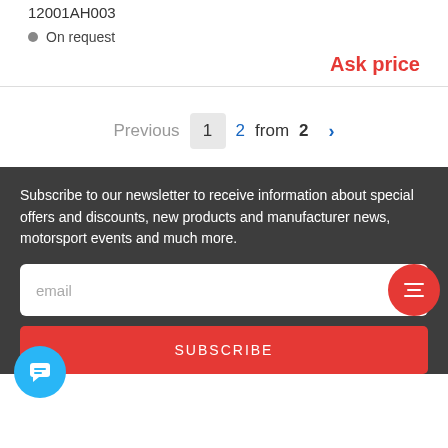12001AH003
On request
Ask price
Previous 1 2 from 2 >
Subscribe to our newsletter to receive information about special offers and discounts, new products and manufacturer news, motorsport events and much more.
email
SUBSCRIBE